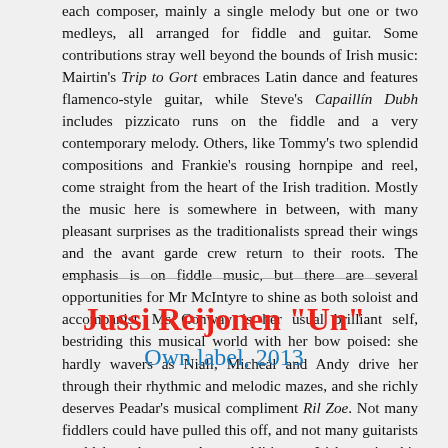each composer, mainly a single melody but one or two medleys, all arranged for fiddle and guitar. Some contributions stray well beyond the bounds of Irish music: Mairtin's Trip to Gort embraces Latin dance and features flamenco-style guitar, while Steve's Capaillín Dubh includes pizzicato runs on the fiddle and a very contemporary melody. Others, like Tommy's two splendid compositions and Frankie's rousing hornpipe and reel, come straight from the heart of the Irish tradition. Mostly the music here is somewhere in between, with many pleasant surprises as the traditionalists spread their wings and the avant garde crew return to their roots. The emphasis is on fiddle music, but there are several opportunities for Mr McIntyre to shine as both soloist and accompanist. Ms Conway is her usual brilliant self, bestriding this musical world with her bow poised: she hardly wavers as Niall, Micheál and Andy drive her through their rhythmic and melodic mazes, and she richly deserves Peadar's musical compliment Ril Zoe. Not many fiddlers could have pulled this off, and not many guitarists could have kept up. As an addition to Irish music, this album is a triumph: as entertainment, it's a treat indeed.
© Alex Monaghan
Jussi Reijonen "Un"
Own label, 2013